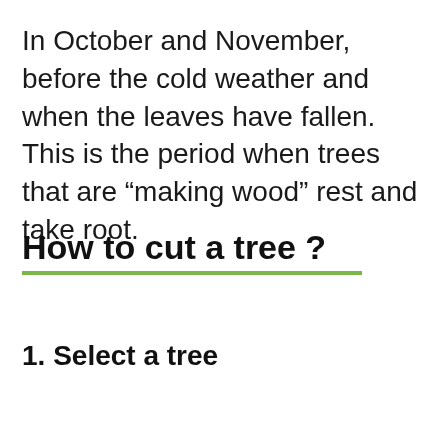In October and November, before the cold weather and when the leaves have fallen. This is the period when trees that are “making wood” rest and take root.
How to cut a tree ?
1. Select a tree